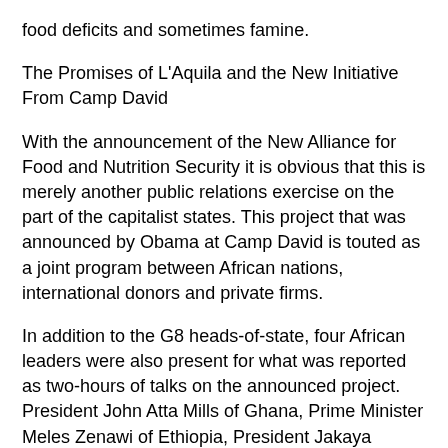food deficits and sometimes famine.
The Promises of L'Aquila and the New Initiative From Camp David
With the announcement of the New Alliance for Food and Nutrition Security it is obvious that this is merely another public relations exercise on the part of the capitalist states. This project that was announced by Obama at Camp David is touted as a joint program between African nations, international donors and private firms.
In addition to the G8 heads-of-state, four African leaders were also present for what was reported as two-hours of talks on the announced project. President John Atta Mills of Ghana, Prime Minister Meles Zenawi of Ethiopia, President Jakaya Mrisho Kikwete of Tanzania and President Yai Boni of Benin, who is also the current chairperson of the African Union, met with Obama to discuss this partnership.
In a joint statement issued by President Kikwete of Tanzania, Ellen Kullman of DuPont Corporation and Dr. Rajiv Shah,